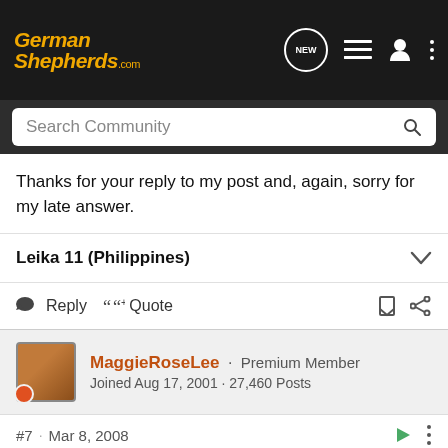GermanShepherds.com
Search Community
Thanks for your reply to my post and, again, sorry for my late answer.
Leika 11 (Philippines)
Reply  Quote
MaggieRoseLee · Premium Member
Joined Aug 17, 2001 · 27,460 Posts
#7 · Mar 8, 2008
Re: Teaching a dog to refuse food offered by stran